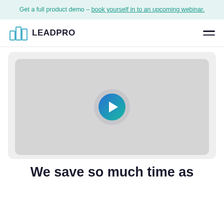Get a full product demo – book yourself in to an upcoming webinar.
[Figure (logo): LeadPro logo: two building/bar chart icons in teal/blue outline next to bold text LEADPRO]
[Figure (screenshot): Video thumbnail placeholder with a teal/blue gradient play button centered on a light grey background]
We save so much time as